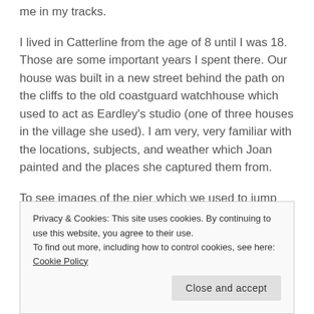me in my tracks.
I lived in Catterline from the age of 8 until I was 18. Those are some important years I spent there. Our house was built in a new street behind the path on the cliffs to the old coastguard watchhouse which used to act as Eardley's studio (one of three houses in the village she used). I am very, very familiar with the locations, subjects, and weather which Joan painted and the places she captured them from.
To see images of the pier which we used to jump off, the sea stack we used to climb and the cliffs we spent years
Privacy & Cookies: This site uses cookies. By continuing to use this website, you agree to their use.
To find out more, including how to control cookies, see here: Cookie Policy
Close and accept